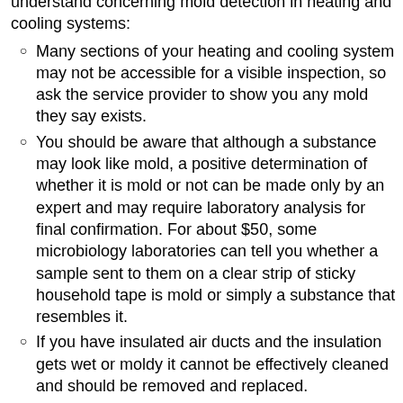understand concerning mold detection in heating and cooling systems:
Many sections of your heating and cooling system may not be accessible for a visible inspection, so ask the service provider to show you any mold they say exists.
You should be aware that although a substance may look like mold, a positive determination of whether it is mold or not can be made only by an expert and may require laboratory analysis for final confirmation. For about $50, some microbiology laboratories can tell you whether a sample sent to them on a clear strip of sticky household tape is mold or simply a substance that resembles it.
If you have insulated air ducts and the insulation gets wet or moldy it cannot be effectively cleaned and should be removed and replaced.